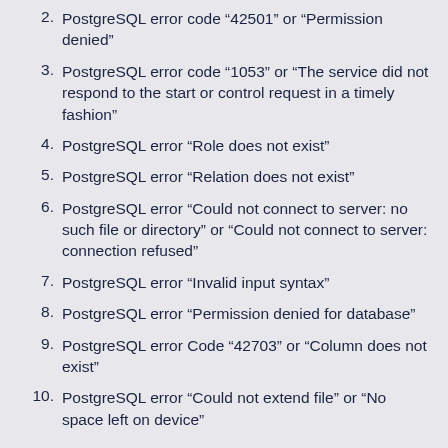2. PostgreSQL error code “42501” or “Permission denied”
3. PostgreSQL error code “1053” or “The service did not respond to the start or control request in a timely fashion”
4. PostgreSQL error “Role does not exist”
5. PostgreSQL error “Relation does not exist”
6. PostgreSQL error “Could not connect to server: no such file or directory” or “Could not connect to server: connection refused”
7. PostgreSQL error “Invalid input syntax”
8. PostgreSQL error “Permission denied for database”
9. PostgreSQL error Code “42703” or “Column does not exist”
10. PostgreSQL error “Could not extend file” or “No space left on device”